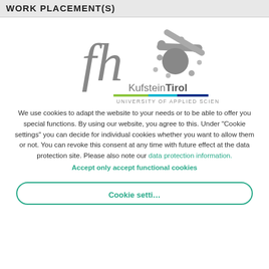WORK PLACEMENT(S)
[Figure (logo): FH Kufstein Tirol University of Applied Sciences logo — stylized 'fh' letters in gray with a star/burst graphic in gray-green on the right, colored bar (green, cyan, blue) underneath, 'KufsteinTirol' text and 'UNIVERSITY OF APPLIED SCIENCES' text below]
We use cookies to adapt the website to your needs or to be able to offer you special functions. By using our website, you agree to this. Under "Cookie settings" you can decide for individual cookies whether you want to allow them or not. You can revoke this consent at any time with future effect at the data protection site. Please also note our data protection information.
Accept only accept functional cookies
Cookie settings